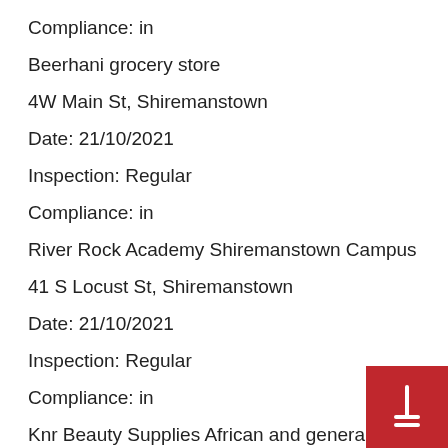Compliance: in
Beerhani grocery store
4W Main St, Shiremanstown
Date: 21/10/2021
Inspection: Regular
Compliance: in
River Rock Academy Shiremanstown Campus
41 S Locust St, Shiremanstown
Date: 21/10/2021
Inspection: Regular
Compliance: in
Knr Beauty Supplies African and general mark